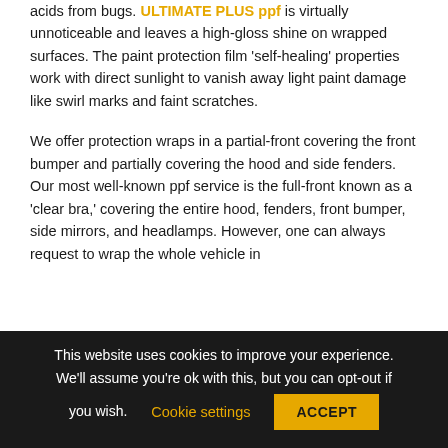acids from bugs. ULTIMATE PLUS ppf is virtually unnoticeable and leaves a high-gloss shine on wrapped surfaces. The paint protection film 'self-healing' properties work with direct sunlight to vanish away light paint damage like swirl marks and faint scratches.
We offer protection wraps in a partial-front covering the front bumper and partially covering the hood and side fenders. Our most well-known ppf service is the full-front known as a 'clear bra,' covering the entire hood, fenders, front bumper, side mirrors, and headlamps. However, one can always request to wrap the whole vehicle in
This website uses cookies to improve your experience. We'll assume you're ok with this, but you can opt-out if you wish. Cookie settings ACCEPT